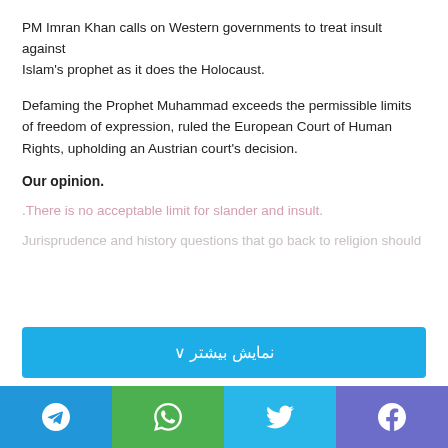PM Imran Khan calls on Western governments to treat insult against Islam's prophet as it does the Holocaust.
Defaming the Prophet Muhammad exceeds the permissible limits of freedom of expression, ruled the European Court of Human Rights, upholding an Austrian court's decision.
Our opinion.
There is no acceptable limit for slander and insult.
Jurisprudence and history questions that go back to religion should
نمایش بیشتر ∨